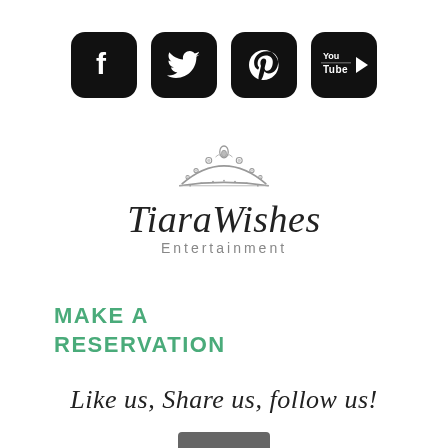[Figure (illustration): Four social media icons (Facebook, Twitter, Pinterest, YouTube) displayed as white icons on black rounded square backgrounds]
[Figure (logo): TiaraWishes Entertainment logo with a decorative tiara crown above the stylized italic text 'TiaraWishes' and 'Entertainment' in grey below]
MAKE A RESERVATION
Like us, Share us, follow us!